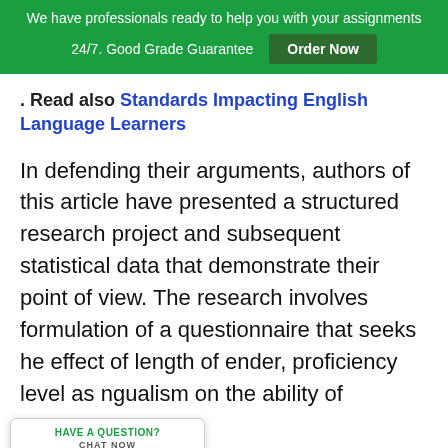We have professionals ready to help you with your assignments 24/7. Good Grade Guarantee  Order Now
. Read also Standards Impacting English Language Learners
In defending their arguments, authors of this article have presented a structured research project and subsequent statistical data that demonstrate their point of view. The research involves formulation of a questionnaire that seeks he effect of length of ender, proficiency level as ngualism on the ability of